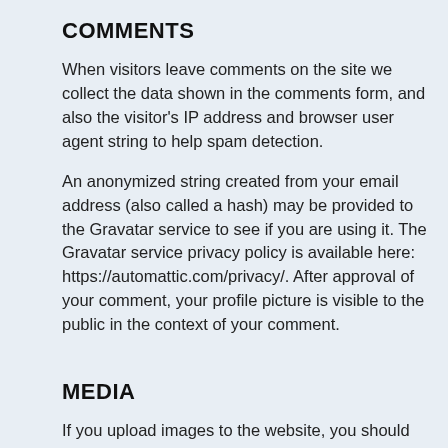COMMENTS
When visitors leave comments on the site we collect the data shown in the comments form, and also the visitor's IP address and browser user agent string to help spam detection.
An anonymized string created from your email address (also called a hash) may be provided to the Gravatar service to see if you are using it. The Gravatar service privacy policy is available here: https://automattic.com/privacy/. After approval of your comment, your profile picture is visible to the public in the context of your comment.
MEDIA
If you upload images to the website, you should avoid uploading images with embedded location data (EXIF GPS) included. Visitors to the website can download and extract any location data from images on the